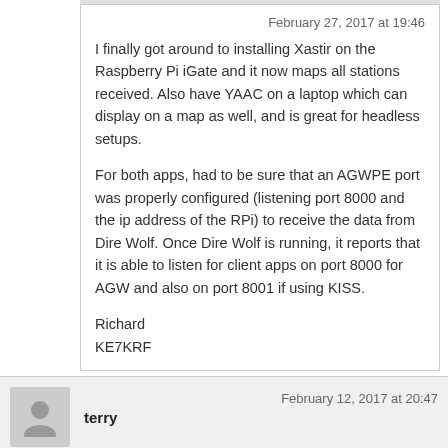February 27, 2017 at 19:46
I finally got around to installing Xastir on the Raspberry Pi iGate and it now maps all stations received. Also have YAAC on a laptop which can display on a map as well, and is great for headless setups.

For both apps, had to be sure that an AGWPE port was properly configured (listening port 8000 and the ip address of the RPi) to receive the data from Dire Wolf. Once Dire Wolf is running, it reports that it is able to listen for client apps on port 8000 for AGW and also on port 8001 if using KISS.

Richard
KE7KRF
February 12, 2017 at 20:47
terry
ran the test and got